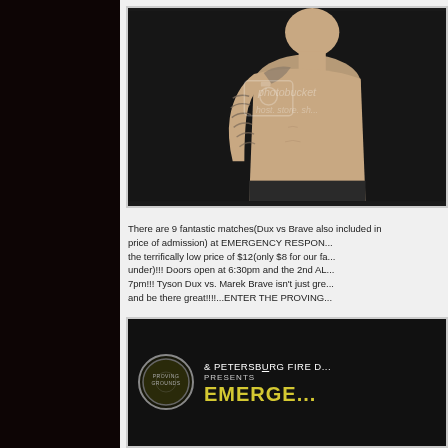[Figure (photo): Shirtless male fighter with tattoos on arm/shoulder, posed against dark background, with Photobucket watermark overlay]
There are 9 fantastic matches(Dux vs Brave also included in price of admission) at EMERGENCY RESPON... the terrifically low price of $12(only $8 for our fa... under)!!! Doors open at 6:30pm and the 2nd AL... 7pm!!! Tyson Dux vs. Marek Brave isn't just gre... and be there great!!!!...ENTER THE PROVING...
[Figure (logo): Proving Grounds logo circle with text '& PETERSBURG FIRE D... PRESENTS EMERGE...' in dark background with yellow/gold text]